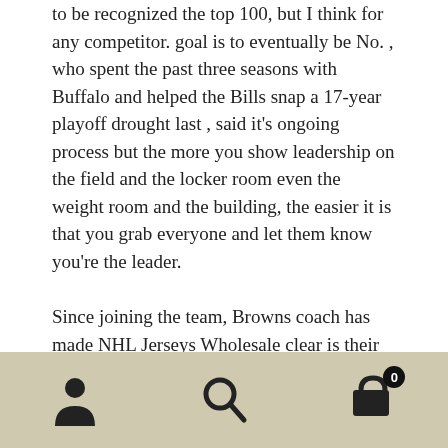to be recognized the top 100, but I think for any competitor. goal is to eventually be No. , who spent the past three seasons with Buffalo and helped the Bills snap a 17-year playoff drought last , said it's ongoing process but the more you show leadership on the field and the locker room even the weight room and the building, the easier it is that you grab everyone and let them know you're the leader.
Since joining the team, Browns coach has made NHL Jerseys Wholesale clear is their Wholesale NFL Jerseys Nike starting quarterback. It's been roughly two months since Browns quarterback Tyrod was traded to and even less since he's been able to workout with his new teammates. Landry gives 's offense a versatile weapon and
Navigation toolbar with user, search, and cart (0) icons